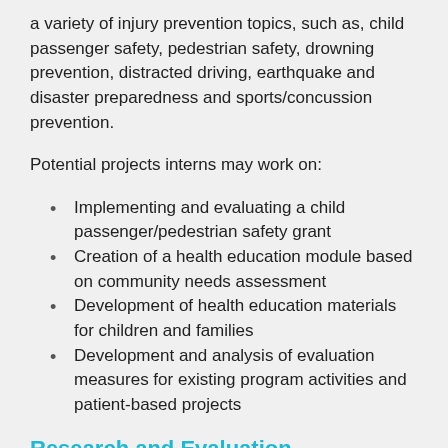a variety of injury prevention topics, such as, child passenger safety, pedestrian safety, drowning prevention, distracted driving, earthquake and disaster preparedness and sports/concussion prevention.
Potential projects interns may work on:
Implementing and evaluating a child passenger/pedestrian safety grant
Creation of a health education module based on community needs assessment
Development of health education materials for children and families
Development and analysis of evaluation measures for existing program activities and patient-based projects
Research and Evaluation
Interns will conduct literature searches, assist with study design, develop data collection tools, analyze data using statistical software, prepare manuscripts and assist in IRB study submissions. The areas of focus are acute trauma care,